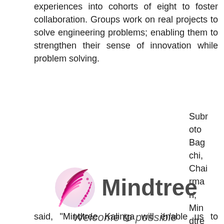experiences into cohorts of eight to foster collaboration. Groups work on real projects to solve engineering problems; enabling them to strengthen their sense of innovation while problem solving.
[Figure (logo): Mindtree logo with globe/sphere icon and text 'Mindtree' with tagline 'Welcome to possible']
Subroto Bagchi, Chairman, Mindtree,
said, "Mindtree Kalinga will enable us to shape the minds of our future workforce by revisiting